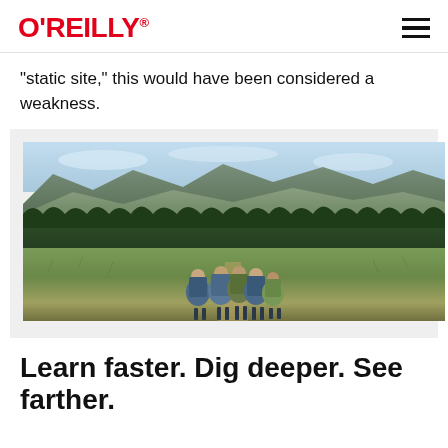O'REILLY
“static site,” this would have been considered a weakness.
[Figure (photo): Group of hikers with large backpacks walking along a trail through open grassland with a dense pine forest and mountain range in the background under a partly cloudy sky.]
Learn faster. Dig deeper. See farther.